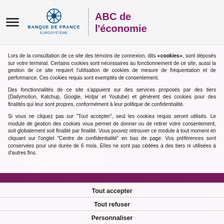Banque de France Eurosystème — ABC de l'économie
Lors de la consultation de ce site des témoins de connexion, dits « cookies », sont déposés sur votre terminal. Certains cookies sont nécessaires au fonctionnement de ce site, aussi la gestion de ce site requiert l'utilisation de cookies de mesure de fréquentation et de performance. Ces cookies requis sont exemptés de consentement.
Des fonctionnalités de ce site s'appuient sur des services proposés par des tiers (Dailymotion, Katchup, Google, Hotjar et Youtube) et génèrent des cookies pour des finalités qui leur sont propres, conformément à leur politique de confidentialité.
Si vous ne cliquez pas sur "Tout accepter", seul les cookies requis seront utilisés. Le module de gestion des cookies vous permet de donner ou de retirer votre consentement, soit globalement soit finalité par finalité. Vous pouvez retrouver ce module à tout moment en cliquant sur l'onglet "Centre de confidentialité" en bas de page. Vos préférences sont conservées pour une durée de 6 mois. Elles ne sont pas cédées à des tiers ni utilisées à d'autres fins.
Consolidated financial statement of the Eurosystem as at 28 May 2026
Tout accepter
Tout refuser
Personnaliser